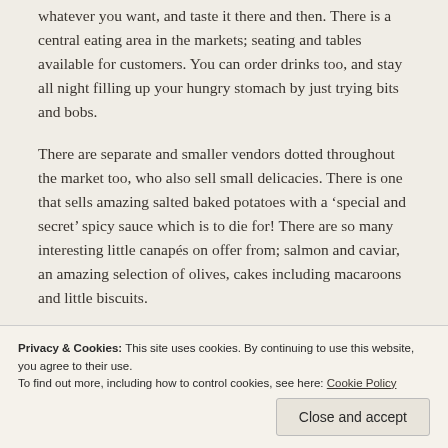whatever you want, and taste it there and then. There is a central eating area in the markets; seating and tables available for customers. You can order drinks too, and stay all night filling up your hungry stomach by just trying bits and bobs.
There are separate and smaller vendors dotted throughout the market too, who also sell small delicacies. There is one that sells amazing salted baked potatoes with a ‘special and secret’ spicy sauce which is to die for! There are so many interesting little canapés on offer from; salmon and caviar, an amazing selection of olives, cakes including macaroons and little biscuits.
There is so much variety of ‘tapas’ to choose from, and then eat
tapas, Museo del Jamon and the Plaza del Sol.
Privacy & Cookies: This site uses cookies. By continuing to use this website, you agree to their use.
To find out more, including how to control cookies, see here: Cookie Policy
Close and accept